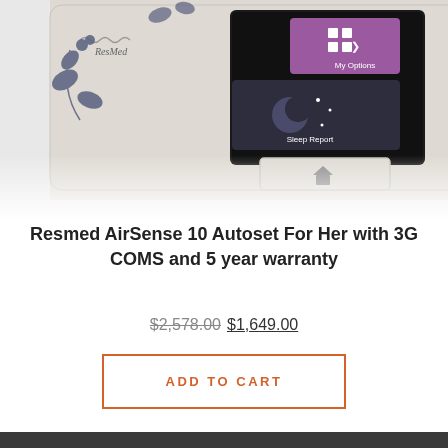[Figure (photo): Close-up photo of a ResMed AirSense 10 Autoset For Her CPAP machine with floral decorative design, showing the device screen with My Options and Sleep Report menu items, a home button, and a control dial, with a water chamber visible to the right.]
Resmed AirSense 10 Autoset For Her with 3G COMS and 5 year warranty
$2,578.00 $1,649.00
ADD TO CART